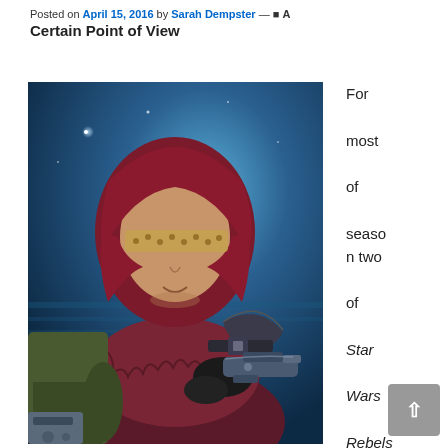Posted on April 15, 2016 by Sarah Dempster — A Certain Point of View
[Figure (illustration): Digital illustration of a female character in dark red/maroon hooded garment with a patterned blindfold, holding a blaster pistol, set against a blue cosmic background. Appears to be fan art related to Star Wars Rebels.]
For most of season two of Star Wars Rebels, it was hard to miss the